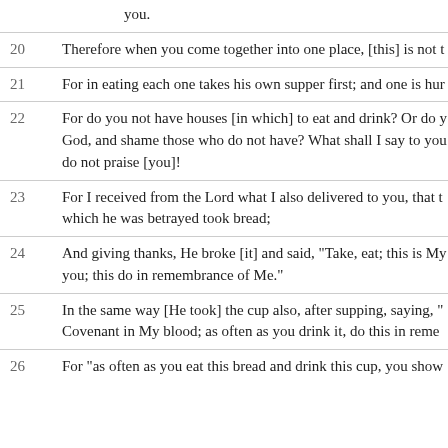you.
20  Therefore when you come together into one place, [this] is not t
21  For in eating each one takes his own supper first; and one is hun
22  For do you not have houses [in which] to eat and drink? Or do y God, and shame those who do not have? What shall I say to you do not praise [you]!
23  For I received from the Lord what I also delivered to you, that t which he was betrayed took bread;
24  And giving thanks, He broke [it] and said, "Take, eat; this is My you; this do in remembrance of Me."
25  In the same way [He took] the cup also, after supping, saying, " Covenant in My blood; as often as you drink it, do this in reme
26  For "as often as you eat this bread and drink this cup, you show